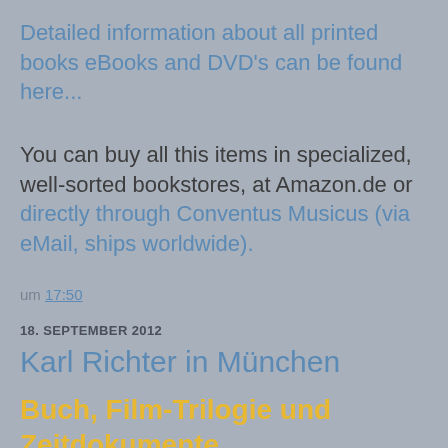Detailed information about all printed books eBooks and DVD's can be found here...
You can buy all this items in specialized, well-sorted bookstores, at Amazon.de or directly through Conventus Musicus (via eMail, ships worldwide).
um 17:50
18. SEPTEMBER 2012
Karl Richter in München
Buch, Film-Trilogie und Zeitdokumente